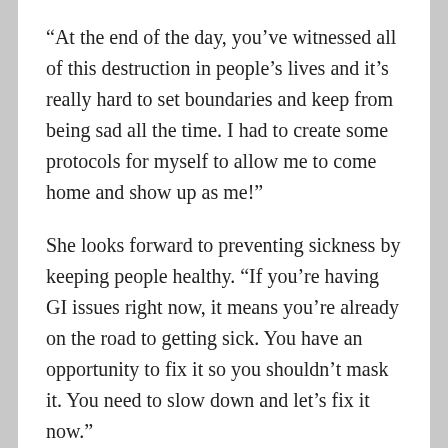“At the end of the day, you’ve witnessed all of this destruction in people’s lives and it’s really hard to set boundaries and keep from being sad all the time. I had to create some protocols for myself to allow me to come home and show up as me!”
She looks forward to preventing sickness by keeping people healthy. “If you’re having GI issues right now, it means you’re already on the road to getting sick. You have an opportunity to fix it so you shouldn’t mask it. You need to slow down and let’s fix it now.”
Cheryle Knows She’s Making A Difference – Every Day!